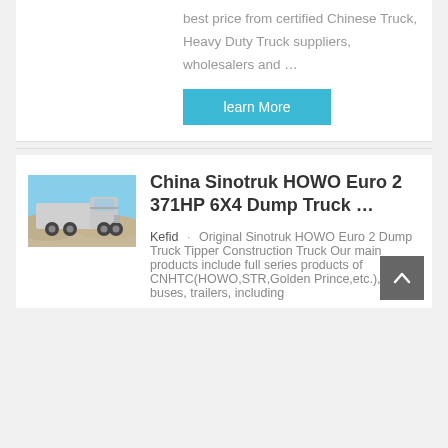best price from certified Chinese Truck, Heavy Duty Truck suppliers, wholesalers and …
learn More
[Figure (photo): Photo of a white Sinotruk HOWO heavy duty truck cab, parked outdoors with hills in the background.]
China Sinotruk HOWO Euro 2 371HP 6X4 Dump Truck …
Kefid · Original Sinotruk HOWO Euro 2 Dump Truck Tipper Construction Truck Our main products include full series products of CNHTC(HOWO,STR,Golden Prince,etc.), buses, trailers, including